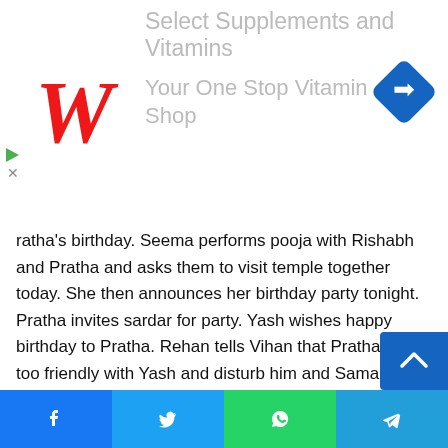[Figure (advertisement): Walgreens advertisement banner: 'Select Supplements and Vitamins — Your One Stop Vitamin Shop' with Walgreens cursive W logo and a blue diamond navigation icon]
ratha's birthday. Seema performs pooja with Rishabh and Pratha and asks them to visit temple together today. She then announces her birthday party tonight. Pratha invites sardar for party. Yash wishes happy birthday to Pratha. Rehan tells Vihan that Pratha gets too friendly with Yash and disturb him and Samaira always, he cannot see Bhai's situation and will expose Pratha today. He invites Reem for the party. Reem says she will not attend Pratha's party as she kicked her out of house. Reem hears his conversation and thinks she will reach the 5th asur via him.
Pratha gets ready in a sari and tries to tie her blouse lace
[Figure (infographic): Social share bar with Facebook, Twitter, WhatsApp, and Telegram buttons]